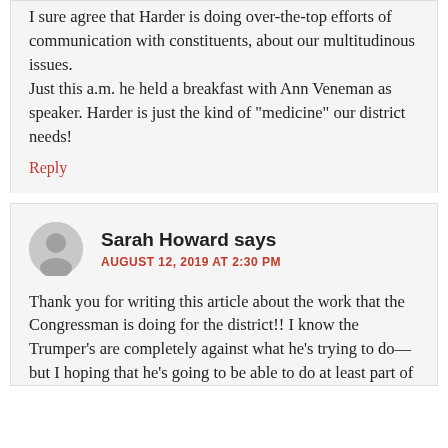I sure agree that Harder is doing over-the-top efforts of communication with constituents, about our multitudinous issues.
Just this a.m. he held a breakfast with Ann Veneman as speaker. Harder is just the kind of “medicine” our district needs!
Reply
Sarah Howard says
AUGUST 12, 2019 AT 2:30 PM
Thank you for writing this article about the work that the Congressman is doing for the district!! I know the Trumper’s are completely against what he’s trying to do—but I hoping that he’s going to be able to do at least part of